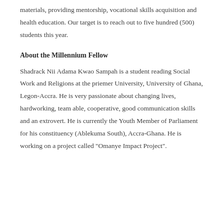materials, providing mentorship, vocational skills acquisition and health education. Our target is to reach out to five hundred (500) students this year.
About the Millennium Fellow
Shadrack Nii Adama Kwao Sampah is a student reading Social Work and Religions at the priemer University, University of Ghana, Legon-Accra. He is very passionate about changing lives, hardworking, team able, cooperative, good communication skills and an extrovert. He is currently the Youth Member of Parliament for his constituency (Ablekuma South), Accra-Ghana. He is working on a project called "Omanye Impact Project".